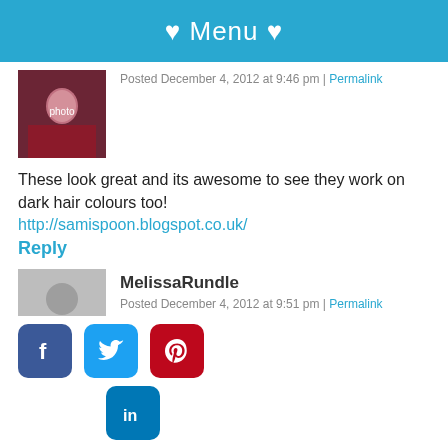♥ Menu ♥
Posted December 4, 2012 at 9:46 pm | Permalink
These look great and its awesome to see they work on dark hair colours too!
http://samispoon.blogspot.co.uk/
Reply
MelissaRundle
Posted December 4, 2012 at 9:51 pm | Permalink
I LOVE your outfit! Your octopus dress with the hair makes you look like a beautiful, surreal mermaid! And of course I love the purse too ;-) To enter the contest, I liked Anastacia on Facebook, added her on Instagram and I'm following her on Twitter. <3 ^^